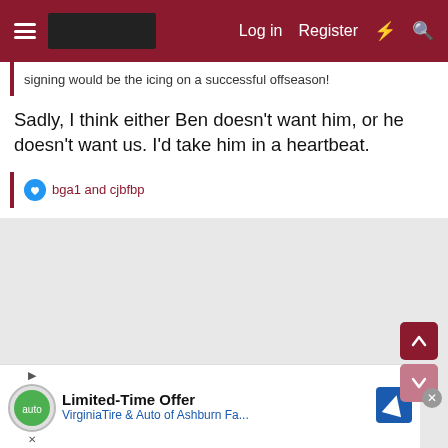Log in  Register
signing would be the icing on a successful offseason!
Sadly, I think either Ben doesn't want him, or he doesn't want us. I'd take him in a heartbeat.
bga1 and cjbfbp
Limited-Time Offer  VirginiaTire & Auto of Ashburn Fa...